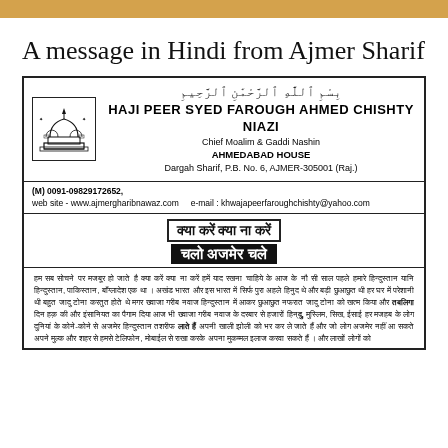A message in Hindi from Ajmer Sharif
[Figure (illustration): Letterhead of Haji Peer Syed Farough Ahmed Chishty Niazi with logo of dargah dome illustration, Arabic bismillah text, name, title Chief Moalim & Gaddi Nashin, Ahmedabad House, Dargah Sharif details, contact information, and Hindi text headers 'क्या करें क्या ना करें' and 'चलो अजमेर चले']
हम सब सोचने पर मजबूर हो जाते है क्या करें क्या ना करें हमें याद रखना चाहिये के आज के नौ सी साल पहले हमारे हिन्दुस्तान यानि हिन्दुस्तान, पाकिस्तान, बाँग्लादेश एक था । अखंड भारत और इस भारत में सिर्फ पुरा अहले हिनुद थे और बड़ी छुआछुत थी हर घर में परेशानी थी बहुत जादु टोना करतुत होते थे मगर ख्वाजा गरीब नवाज हिन्दुस्तान में आकर छुआछुत नफरात जादु टोना को खत्म किया और तबलिगा दिन हक़ की और इंसानियत का पैगाम दिया आज भी ख्वाजा गरीब नवाज के दरबार से हजारों हिन्दु, मुस्लिम, सिख, ईसाई हर मजहब के लोग दुनियां के कोने-कोने से अजमेर हिन्दुस्तान तशरीफ लाते है अपनी खाली झोली को भर कर ले जाते हैं और जो लोग अजमेर नहीं आ सकते अपने मुल्क और शहर से हमसे टेलिफोन, मोबाईल से राखा करके अपना मुकम्मल इलाज करवा सकते हैं । और लाखों लोगों को